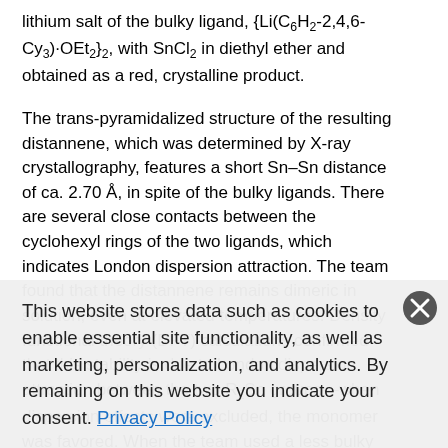lithium salt of the bulky ligand, {Li(C6H2-2,4,6-Cy3)·OEt2}2, with SnCl2 in diethyl ether and obtained as a red, crystalline product.
The trans-pyramidalized structure of the resulting distannene, which was determined by X-ray crystallography, features a short Sn–Sn distance of ca. 2.70 Å, in spite of the bulky ligands. There are several close contacts between the cyclohexyl rings of the two ligands, which indicates London dispersion attraction. The team found that the distannene remains dimeric in solution, even at elevated temperatures. Density functional theory (DFT) calculations confirmed that this stability is due to London dispersion attraction between the two R2Sn groups—when dispersion effects were excluded, the monomer was favored. When the team used a less bulky 2,4,6-triphenylphenyl ligand, they found that the product is monomeric, which provides additional evidence for the importance...
This website stores data such as cookies to enable essential site functionality, as well as marketing, personalization, and analytics. By remaining on this website you indicate your consent. Privacy Policy